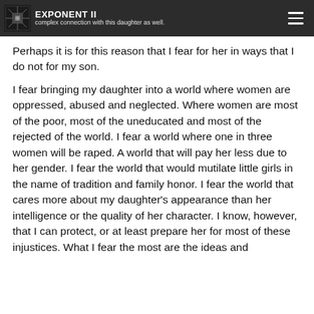EXPONENT II
been watching and guiding me.  I feel that powerful and complex connection with this daughter as well.
Perhaps it is for this reason that I fear for her in ways that I do not for my son.
I fear bringing my daughter into a world where women are oppressed, abused and neglected.  Where women are most of the poor, most of the uneducated and most of the rejected of the world.  I fear a world where one in three women will be raped.  A world that will pay her less due to her gender.  I fear the world that would mutilate little girls in the name of tradition and family honor.  I fear the world that cares more about my daughter's appearance than her intelligence or the quality of her character.  I know, however, that I can protect, or at least prepare her for most of these injustices.  What I fear the most are the ideas and